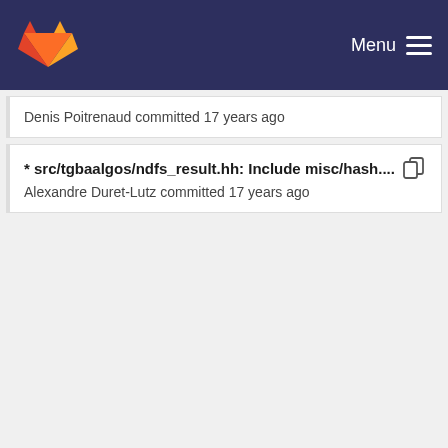Menu
Denis Poitrenaud committed 17 years ago
* src/tgbaalgos/ndfs_result.hh: Include misc/hash.... Alexandre Duret-Lutz committed 17 years ago